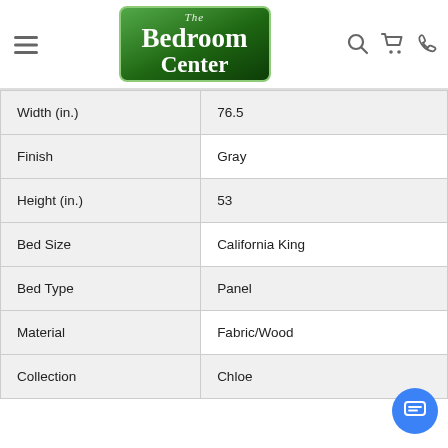The Bedroom Center — navigation header with logo, search, cart, and phone icons
| Attribute | Value |
| --- | --- |
| Width (in.) | 76.5 |
| Finish | Gray |
| Height (in.) | 53 |
| Bed Size | California King |
| Bed Type | Panel |
| Material | Fabric/Wood |
| Collection | Chloe |